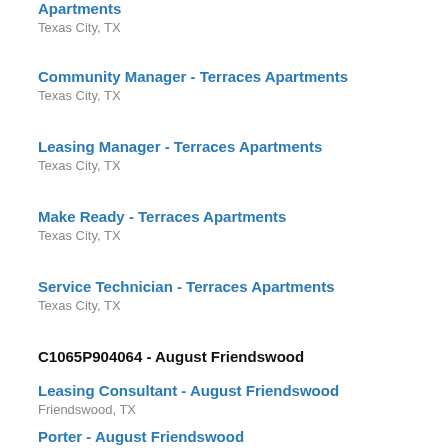Apartments
Texas City, TX
Community Manager - Terraces Apartments
Texas City, TX
Leasing Manager - Terraces Apartments
Texas City, TX
Make Ready - Terraces Apartments
Texas City, TX
Service Technician - Terraces Apartments
Texas City, TX
C1065P904064 - August Friendswood
Leasing Consultant - August Friendswood
Friendswood, TX
Porter - August Friendswood